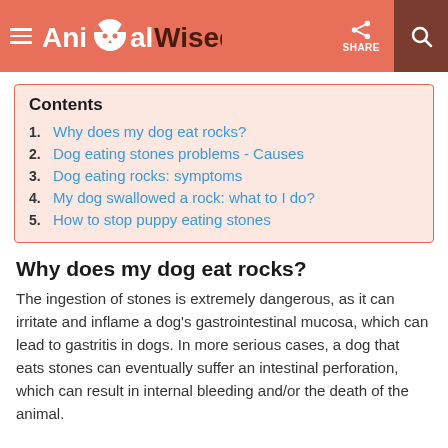AnimalWised — SHARE
Contents
1. Why does my dog eat rocks?
2. Dog eating stones problems - Causes
3. Dog eating rocks: symptoms
4. My dog swallowed a rock: what to I do?
5. How to stop puppy eating stones
Why does my dog eat rocks?
The ingestion of stones is extremely dangerous, as it can irritate and inflame a dog's gastrointestinal mucosa, which can lead to gastritis in dogs. In more serious cases, a dog that eats stones can eventually suffer an intestinal perforation, which can result in internal bleeding and/or the death of the animal.